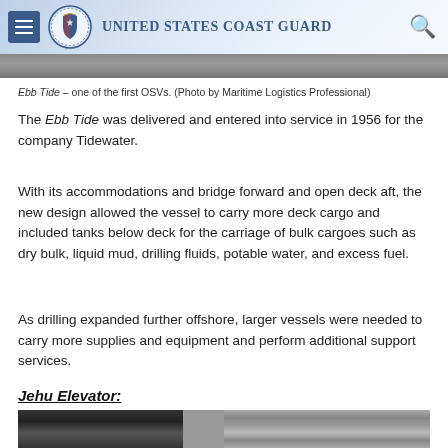United States Coast Guard
[Figure (photo): Partial top edge of a black and white photograph of a ship (OSV), cropped at top.]
Ebb Tide – one of the first OSVs. (Photo by Maritime Logistics Professional)
The Ebb Tide was delivered and entered into service in 1956 for the company Tidewater.
With its accommodations and bridge forward and open deck aft, the new design allowed the vessel to carry more deck cargo and included tanks below deck for the carriage of bulk cargoes such as dry bulk, liquid mud, drilling fluids, potable water, and excess fuel.
As drilling expanded further offshore, larger vessels were needed to carry more supplies and equipment and perform additional support services.
Jehu Elevator:
[Figure (photo): Black and white photograph, partially visible at the bottom of the page, showing the Jehu Elevator.]